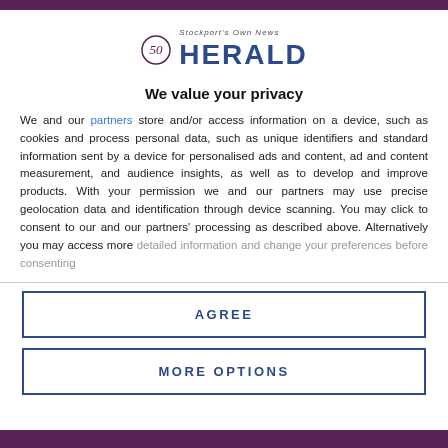[Figure (logo): Herald newspaper logo with stylized 'HERALD' text in blue and decorative icon]
We value your privacy
We and our partners store and/or access information on a device, such as cookies and process personal data, such as unique identifiers and standard information sent by a device for personalised ads and content, ad and content measurement, and audience insights, as well as to develop and improve products. With your permission we and our partners may use precise geolocation data and identification through device scanning. You may click to consent to our and our partners' processing as described above. Alternatively you may access more detailed information and change your preferences before consenting
AGREE
MORE OPTIONS